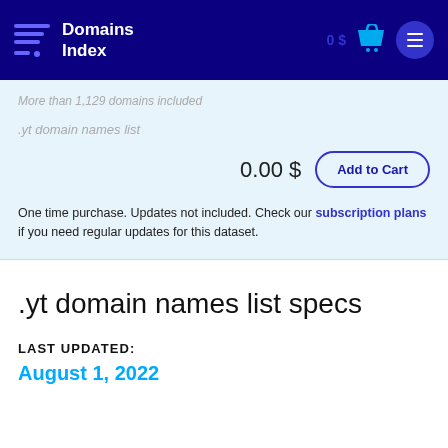Domains Index | 0 $ | Cart | Menu
More than 1,129 domains included
.yt domain names list
0.00 $
Add to Cart
One time purchase. Updates not included. Check our subscription plans if you need regular updates for this dataset.
.yt domain names list specs
LAST UPDATED:
August 1, 2022